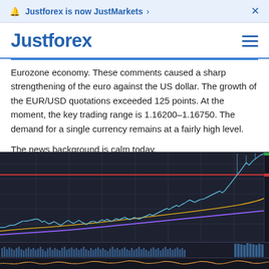🔔 Justforex is now JustMarkets ›   ×
[Figure (logo): Justforex logo with hamburger menu icon]
Eurozone economy. These comments caused a sharp strengthening of the euro against the US dollar. The growth of the EUR/USD quotations exceeded 125 points. At the moment, the key trading range is 1.16200–1.16750. The demand for a single currency remains at a fairly high level.
The news background is calm today.
[Figure (continuous-plot): EUR/USD forex price chart showing candlestick/line price action with moving averages (orange and purple), a horizontal red resistance line, and a volume oscillator panel at the bottom. Price has risen sharply to the right side of the chart.]